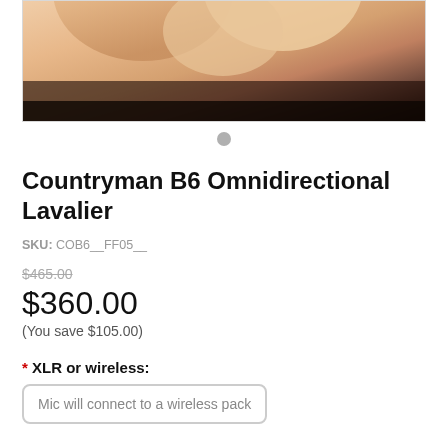[Figure (photo): Close-up photo of fingers holding a tiny Countryman B6 lavalier microphone, shown against a white background. Only the bottom portion of the image is visible, showing skin tones and fingers.]
SKU: COB6__FF05__
Countryman B6 Omnidirectional Lavalier
$465.00 (strikethrough original price)
$360.00
(You save $105.00)
* XLR or wireless:
Mic will connect to a wireless pack